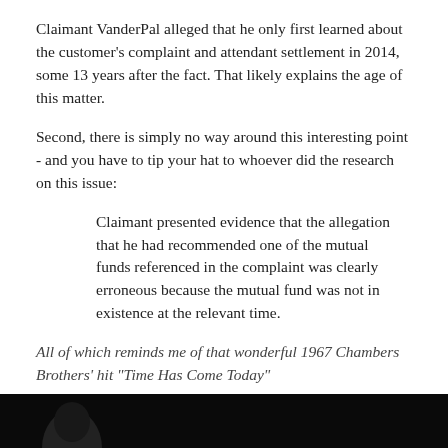Claimant VanderPal alleged that he only first learned about the customer's complaint and attendant settlement in 2014, some 13 years after the fact. That likely explains the age of this matter.
Second, there is simply no way around this interesting point - and you have to tip your hat to whoever did the research on this issue:
Claimant presented evidence that the allegation that he had recommended one of the mutual funds referenced in the complaint was clearly erroneous because the mutual fund was not in existence at the relevant time.
All of which reminds me of that wonderful 1967 Chambers Brothers' hit "Time Has Come Today"
[Figure (photo): Dark photograph strip at the bottom of the page showing a partial figure]